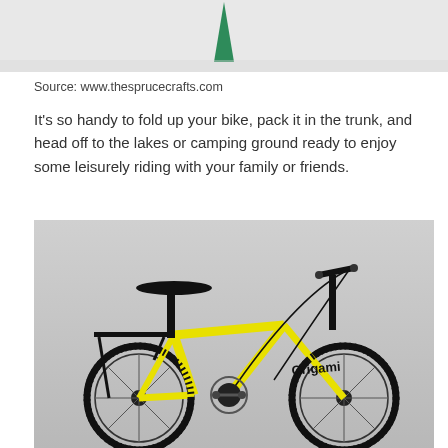[Figure (photo): Partial photo showing a green origami/paper shape against a light background — top portion of a previous image cropped at page top]
Source: www.thesprucecrafts.com
It's so handy to fold up your bike, pack it in the trunk, and head off to the lakes or camping ground ready to enjoy some leisurely riding with your family or friends.
[Figure (photo): Yellow Origami folding bicycle with black components, seat, handlebars, and rear rack, shown against a grey background]